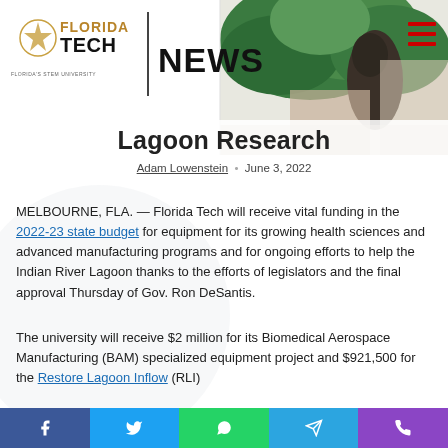[Figure (photo): Florida Tech News website header with logo on white background and outdoor campus photo with sculpture and greenery]
Lagoon Research
Adam Lowenstein · June 3, 2022
MELBOURNE, FLA. — Florida Tech will receive vital funding in the 2022-23 state budget for equipment for its growing health sciences and advanced manufacturing programs and for ongoing efforts to help the Indian River Lagoon thanks to the efforts of legislators and the final approval Thursday of Gov. Ron DeSantis.
The university will receive $2 million for its Biomedical Aerospace Manufacturing (BAM) specialized equipment project and $921,500 for the Restore Lagoon Inflow (RLI)
[Figure (infographic): Social sharing bar with Facebook, Twitter, WhatsApp, Telegram, and phone/share buttons]